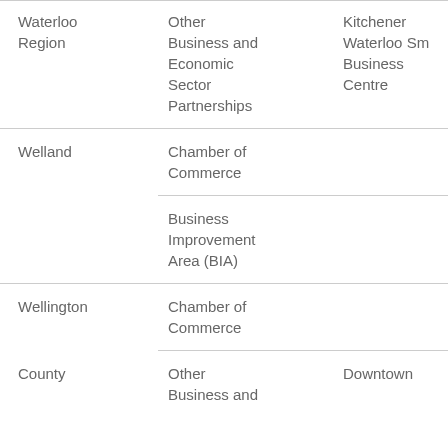| Region | Organization Type | Organization Name |
| --- | --- | --- |
| Waterloo Region | Other Business and Economic Sector Partnerships | Kitchener Waterloo Small Business Centre |
| Welland | Chamber of Commerce |  |
| Welland | Business Improvement Area (BIA) |  |
| Wellington County | Chamber of Commerce |  |
| Wellington County | Other Business and... | Downtown... |